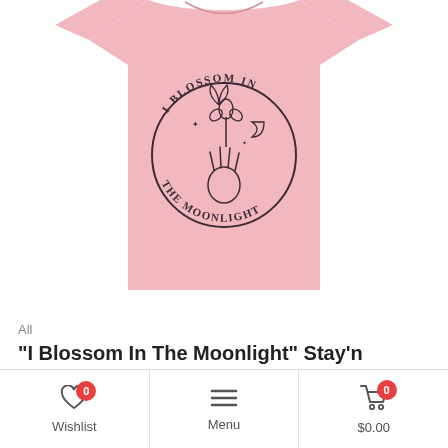[Figure (photo): Pink t-shirt with circular graphic design reading 'I Blossom In The Moonlight' featuring a hand holding a flower with a moon and butterfly, on white background]
All
"I Blossom In The Moonlight" Stay'n Trendy T-shirt
$29.95
Earn 2995 Trendy Points.
Wishlist 0 | Menu | $0.00 0